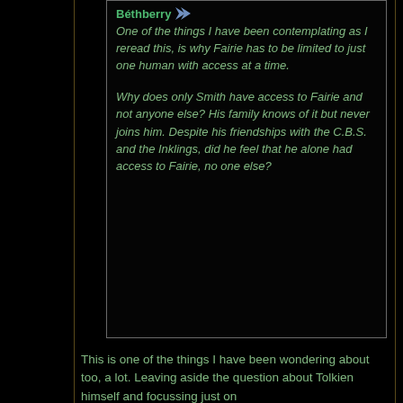Béthberry [arrow] One of the things I have been contemplating as I reread this, is why Fairie has to be limited to just one human with access at a time.

Why does only Smith have access to Fairie and not anyone else? His family knows of it but never joins him. Despite his friendships with the C.B.S. and the Inklings, did he feel that he alone had access to Fairie, no one else?
This is one of the things I have been wondering about too, a lot. Leaving aside the question about Tolkien himself and focussing just on